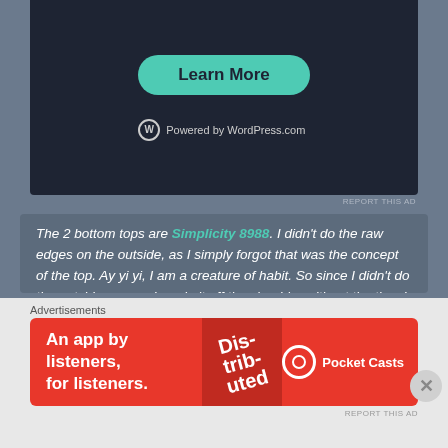[Figure (screenshot): WordPress.com advertisement with teal 'Learn More' button on dark background, with 'Powered by WordPress.com' text below]
REPORT THIS AD
The 2 bottom tops are Simplicity 8988. I didn't do the raw edges on the outside, as I simply forgot that was the concept of the top. Ay yi yi, I am a creature of habit. So since I didn't do the outside seams, I made it off the shoulder without the ties. I plan on using it for lounge wear in the house. I plan on making this one, the right way, blue in a sweatshirt knit I have in my stash. The fabric selected for this one was a sweatshirt knit as well.
[Figure (photo): Bottom strip showing book spines or fabric swatches]
Advertisements
[Figure (screenshot): Pocket Casts advertisement: 'An app by listeners, for listeners.' on red background with phone image]